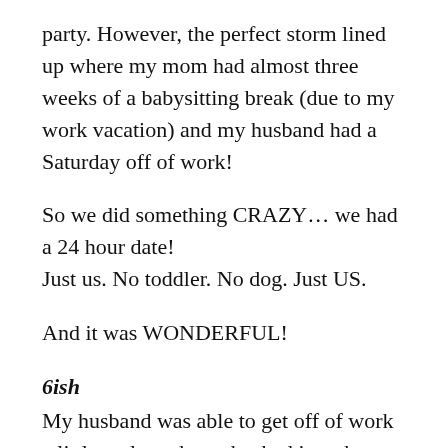party. However, the perfect storm lined up where my mom had almost three weeks of a babysitting break (due to my work vacation) and my husband had a Saturday off of work!
So we did something CRAZY… we had a 24 hour date!
Just us. No toddler. No dog. Just US.
And it was WONDERFUL!
6ish
My husband was able to get off of work a little early and we checked into the 1840's Carrollton Inn at 6:00 pm. The parking garage was a few blocks away, so he waited in the truck while I